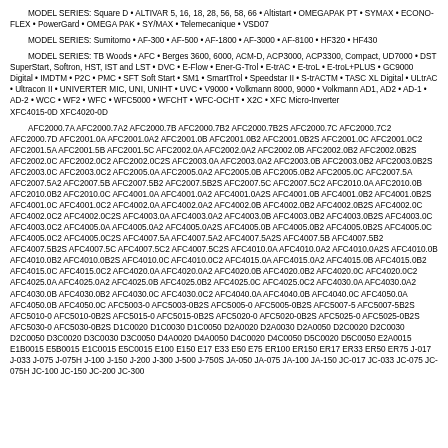MODEL SERIES: Square D • ALTIVAR 5, 16, 18, 28, 56, 58, 66 • Altistart • OMEGAPAK PT • SYMAX • ECONO-FLEX • PowerGard • OMEGA PAK • SY/MAX • Telemecanique • VSD07
MODEL SERIES: Sumitomo • AF-300 • AF-500 • AF-1800 • AF-3000 • AF-8100 • HF320 • HF430
MODEL SERIES: TB Woods • AFC • Berges 3600, 6000, ACM-D, ACP3000, ACP3300, Compact, UD7000 • DST SuperStart, Softron, HST, IST and LST • DVC • E-Flow • Ener-G-Trol • E-trAC • E-troL • E-troL+PLUS • GC9000 Digital • IMDTM • P2C • PMC • SFT Soft Start • SM1 • SmartTrol • Speedstar II • S-trACTM • TASC XL Digital • ULtrAC • Ultracon II • UNIVERTER MIC, UNI, UNIHT • UVC • V9000 • Volkmann 8000, 9000 • Volkmann AD1, AD2 • AD-1 • AD-2 • WCC • WF2 • WFC • WFC5000 • WFCHT • WFC-OCHT • X2C • XFC Micro-Inverter XFC4015-0D XFC4020-0D
AFC2000.7A AFC2000.7A2 AFC2000.7B AFC2000.7B2 AFC2000.7B2S AFC2000.7C AFC2000.7C2 AFC2000.7D AFC2001.0A AFC2001.0A2 AFC2001.0B AFC2001.0B2 AFC2001.0B2S AFC2001.0C AFC2001.0C2 AFC2001.5A AFC2001.5B AFC2001.5C AFC2002.0A AFC2002.0A2 AFC2002.0B AFC2002.0B2 AFC2002.0B2S AFC2002.0C AFC2002.0C2 AFC2002.0C2S AFC2003.0A AFC2003.0A2 AFC2003.0B AFC2003.0B2 AFC2003.0B2S AFC2003.0C AFC2003.0C2 AFC2005.0A AFC2005.0A2 AFC2005.0B AFC2005.0B2 AFC2005.0C AFC2007.5A AFC2007.5A2 AFC2007.5B AFC2007.5B2 AFC2007.5B2S AFC2007.5C AFC2007.5C2 AFC2010.0A AFC2010.0B AFC2010.0B2 AFC2010.0C AFC4001.0A AFC4001.0A2 AFC4001.0A2S AFC4001.0B AFC4001.0B2 AFC4001.0B2S AFC4001.0C AFC4001.0C2 AFC4002.0A AFC4002.0A2 AFC4002.0B AFC4002.0B2 AFC4002.0B2S AFC4002.0C AFC4002.0C2 AFC4002.0C2S AFC4003.0A AFC4003.0A2 AFC4003.0B AFC4003.0B2 AFC4003.0B2S AFC4003.0C AFC4003.0C2 AFC4005.0A AFC4005.0A2 AFC4005.0A2S AFC4005.0B AFC4005.0B2 AFC4005.0B2S AFC4005.0C AFC4005.0C2 AFC4005.0C2S AFC4007.5A AFC4007.5A2 AFC4007.5A2S AFC4007.5B AFC4007.5B2 AFC4007.5B2S AFC4007.5C AFC4007.5C2 AFC4007.5C2S AFC4010.0A AFC4010.0A2 AFC4010.0A2S AFC4010.0B AFC4010.0B2 AFC4010.0B2S AFC4010.0C AFC4010.0C2 AFC4015.0A AFC4015.0A2 AFC4015.0B AFC4015.0B2 AFC4015.0C AFC4015.0C2 AFC4020.0A AFC4020.0A2 AFC4020.0B AFC4020.0B2 AFC4020.0C AFC4020.0C2 AFC4025.0A AFC4025.0A2 AFC4025.0B AFC4025.0B2 AFC4025.0C AFC4025.0C2 AFC4030.0A AFC4030.0A2 AFC4030.0B AFC4030.0B2 AFC4030.0C AFC4030.0C2 AFC4040.0A AFC4040.0B AFC4040.0C AFC4050.0A AFC4050.0B AFC4050.0C AFC5003-0 AFC5003-0B2S AFC5005-0 AFC5005-0B2S AFC5007-5 AFC5007-5B2S AFC5010-0 AFC5010-0B2S AFC5015-0 AFC5015-0B2S AFC5020-0 AFC5020-0B2S AFC5025-0 AFC5025-0B2S AFC5030-0 AFC5030-0B2S D1C0020 D1C0030 D1C0050 D2A0020 D2A0030 D2A0050 D2C0020 D2C0030 D2C0050 D3C0020 D3C0030 D3C0050 D4A0020 D4A0050 D4C0020 D4C0050 D5C0020 D5C0050 E2A0015 E1B0015 E5B0015 E1C0015 E5C0015 E100 E150 E17 E33 E50 E75 ER100 ER150 ER17 ER33 ER50 ER75 J-017 J-033 J-075 J-075H J-100 J-150 J-200 J-300 J-500 J-750S JA-050 JA-075 JA-100 JA-150 JC-017 JC-033 JC-075 JC-075H JC-100 JC-150 JC-200 JC-300